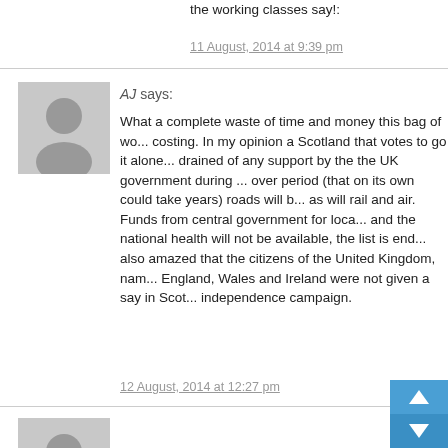the working classes say!:
11 August, 2014 at 9:39 pm
[Figure (illustration): Grey placeholder avatar icon for user AJ]
AJ says:
What a complete waste of time and money this bag of wo... costing. In my opinion a Scotland that votes to go it alone... drained of any support by the the UK government during ... over period (that on its own could take years) roads will b... as will rail and air. Funds from central government for loca... and the national health will not be available, the list is end... also amazed that the citizens of the United Kingdom, nam... England, Wales and Ireland were not given a say in Scot... independence campaign.
12 August, 2014 at 12:27 pm
[Figure (illustration): Grey placeholder avatar icon for user Denzil]
Denzil says:
Finished-Dums MP for Argyll & Bute…..ALAN REID…. Un 19th Sept…with a YES vote! Alan Reid total paid (inc expenses) 2013/13 £239,709.36
The details below provide a summary of the costs... in carrying out their Parliamentary duties. MPs ca...